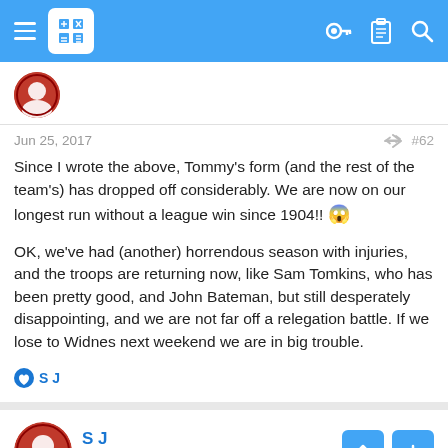Navigation bar with hamburger menu, logo, key icon, clipboard icon, search icon
Jun 25, 2017  #62
Since I wrote the above, Tommy's form (and the rest of the team's) has dropped off considerably. We are now on our longest run without a league win since 1904!! 😱

OK, we've had (another) horrendous season with injuries, and the troops are returning now, like Sam Tomkins, who has been pretty good, and John Bateman, but still desperately disappointing, and we are not far off a relegation battle. If we lose to Widnes next weekend we are in big trouble.
S J
S J
Moderator  Staff member